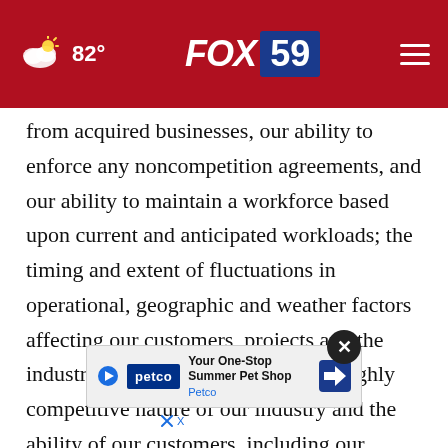82° FOX 59
from acquired businesses, our ability to enforce any noncompetition agreements, and our ability to maintain a workforce based upon current and anticipated workloads; the timing and extent of fluctuations in operational, geographic and weather factors affecting our customers, projects and the industries in which we operate; the highly competitive nature of our industry and the ability of our customers, including our largest customers, to terminate or reduce the amount of services paid for services, on short or no notice under our
[Figure (screenshot): Petco advertisement banner: 'Your One-Stop Summer Pet Shop — Petco' with navigation arrow icon and close button]